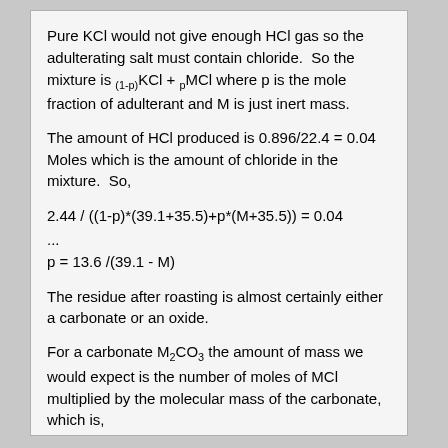Pure KCl would not give enough HCl gas so the adulterating salt must contain chloride.  So the mixture is (1-p)KCl + pMCl where p is the mole fraction of adulterant and M is just inert mass.
The amount of HCl produced is 0.896/22.4 = 0.04 Moles which is the amount of chloride in the mixture.  So,
...
The residue after roasting is almost certainly either a carbonate or an oxide.
For a carbonate M₂CO₃ the amount of mass we would expect is the number of moles of MCl multiplied by the molecular mass of the carbonate, which is,
...